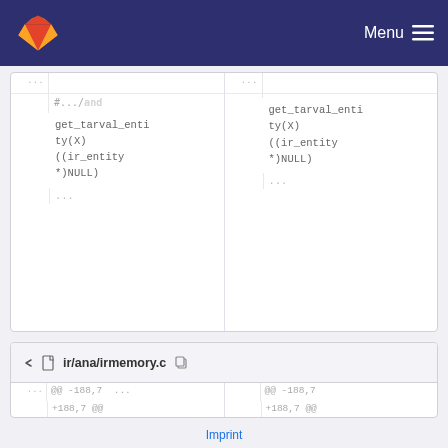GitLab — Menu
[Figure (screenshot): Code diff view showing partial upper diff block with get_tarval_entity(X) ((ir_entity *)NULL) code in two panes, and lower diff block for ir/ana/irmemory.c with @@ -188,7 +188,7 @@ static ir_alias_relation different_index(const ir_node *idx1, const ir_node *idx2 code shown in two panes, line number 188 visible]
Imprint